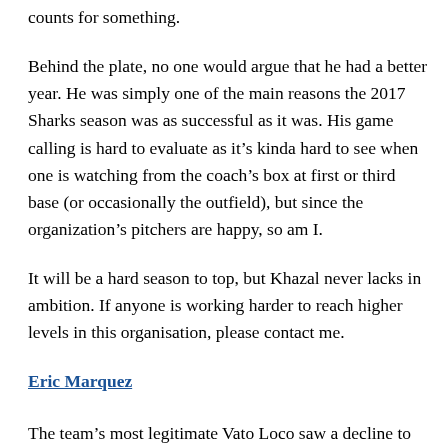counts for something.
Behind the plate, no one would argue that he had a better year. He was simply one of the main reasons the 2017 Sharks season was as successful as it was. His game calling is hard to evaluate as it’s kinda hard to see when one is watching from the coach’s box at first or third base (or occasionally the outfield), but since the organization’s pitchers are happy, so am I.
It will be a hard season to top, but Khazal never lacks in ambition. If anyone is working harder to reach higher levels in this organisation, please contact me.
Eric Marquez
The team’s most legitimate Vato Loco saw a decline to his offensive stats but found his place within the team and on the defensive side of the ball.